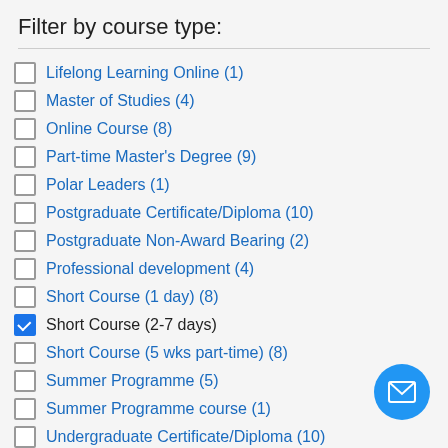Filter by course type:
Lifelong Learning Online (1)
Master of Studies (4)
Online Course (8)
Part-time Master's Degree (9)
Polar Leaders (1)
Postgraduate Certificate/Diploma (10)
Postgraduate Non-Award Bearing (2)
Professional development (4)
Short Course (1 day) (8)
Short Course (2-7 days) [checked]
Short Course (5 wks part-time) (8)
Summer Programme (5)
Summer Programme course (1)
Undergraduate Certificate/Diploma (10)
How can we help?